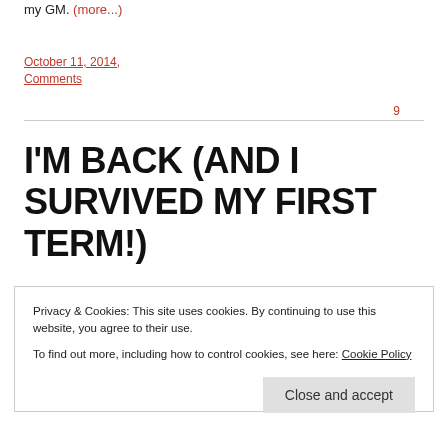my GM. (more...)
October 11, 2014,
9 Comments
I'M BACK (AND I SURVIVED MY FIRST TERM!)
Privacy & Cookies: This site uses cookies. By continuing to use this website, you agree to their use.
To find out more, including how to control cookies, see here: Cookie Policy
Close and accept